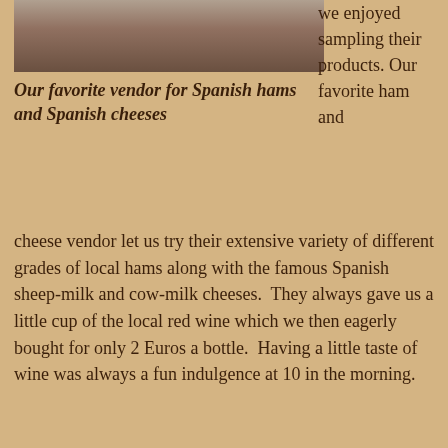[Figure (photo): Photo of a market vendor stand with Spanish hams and cheeses, a person visible behind the counter]
Our favorite vendor for Spanish hams and Spanish cheeses
we enjoyed sampling their products. Our favorite ham and
cheese vendor let us try their extensive variety of different grades of local hams along with the famous Spanish sheep-milk and cow-milk cheeses.  They always gave us a little cup of the local red wine which we then eagerly bought for only 2 Euros a bottle.  Having a little taste of wine was always a fun indulgence at 10 in the morning.